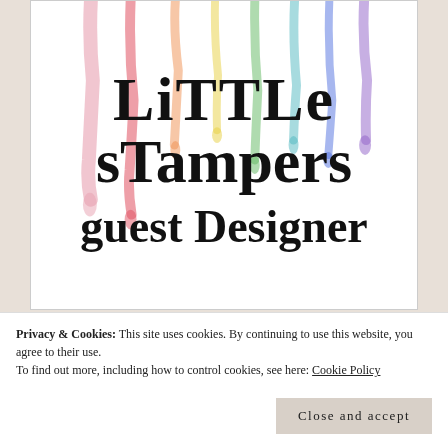[Figure (logo): Little Stampers guest designer logo with colorful watercolor paint drips background and bold serif text reading 'Little stampers guest Designer']
Privacy & Cookies: This site uses cookies. By continuing to use this website, you agree to their use.
To find out more, including how to control cookies, see here: Cookie Policy
Close and accept